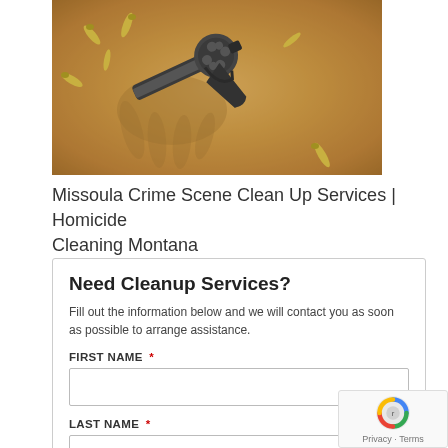[Figure (photo): A revolver handgun lying on sandy ground with several bullet casings scattered around it]
Missoula Crime Scene Clean Up Services | Homicide Cleaning Montana
Need Cleanup Services?
Fill out the information below and we will contact you as soon as possible to arrange assistance.
FIRST NAME *
LAST NAME *
PHONE NUMBER *